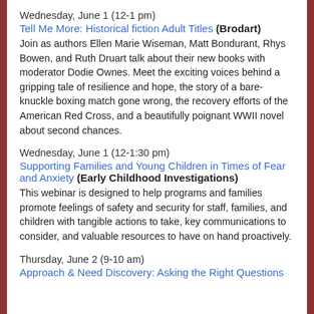Wednesday, June 1 (12-1 pm)
Tell Me More: Historical fiction Adult Titles (Brodart)
Join as authors Ellen Marie Wiseman, Matt Bondurant, Rhys Bowen, and Ruth Druart talk about their new books with moderator Dodie Ownes. Meet the exciting voices behind a gripping tale of resilience and hope, the story of a bare-knuckle boxing match gone wrong, the recovery efforts of the American Red Cross, and a beautifully poignant WWII novel about second chances.
Wednesday, June 1 (12-1:30 pm)
Supporting Families and Young Children in Times of Fear and Anxiety (Early Childhood Investigations)
This webinar is designed to help programs and families promote feelings of safety and security for staff, families, and children with tangible actions to take, key communications to consider, and valuable resources to have on hand proactively.
Thursday, June 2 (9-10 am)
Approach & Need Discovery: Asking the Right Questions